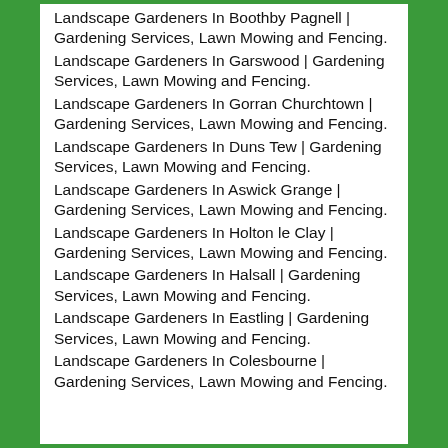Landscape Gardeners In Boothby Pagnell | Gardening Services, Lawn Mowing and Fencing.
Landscape Gardeners In Garswood | Gardening Services, Lawn Mowing and Fencing.
Landscape Gardeners In Gorran Churchtown | Gardening Services, Lawn Mowing and Fencing.
Landscape Gardeners In Duns Tew | Gardening Services, Lawn Mowing and Fencing.
Landscape Gardeners In Aswick Grange | Gardening Services, Lawn Mowing and Fencing.
Landscape Gardeners In Holton le Clay | Gardening Services, Lawn Mowing and Fencing.
Landscape Gardeners In Halsall | Gardening Services, Lawn Mowing and Fencing.
Landscape Gardeners In Eastling | Gardening Services, Lawn Mowing and Fencing.
Landscape Gardeners In Colesbourne | Gardening Services, Lawn Mowing and Fencing.